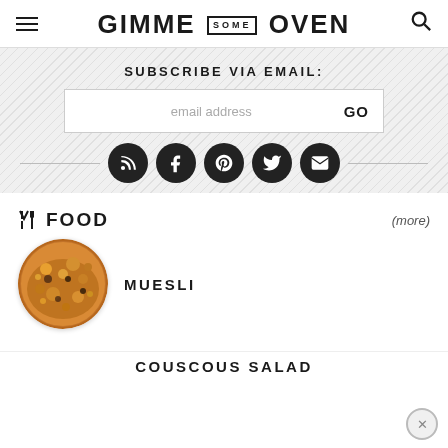GIMME SOME OVEN
SUBSCRIBE VIA EMAIL:
email address  GO
[Figure (infographic): Social media icon circles: RSS, Facebook, Pinterest, Twitter, and Pocket (envelope) icons in dark circular buttons]
FOOD  (more)
[Figure (photo): Circular photo of muesli/granola mix with nuts and seeds on a baked base]
MUESLI
COUSCOUS SALAD